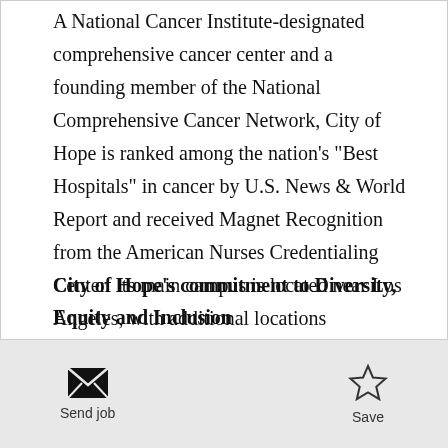A National Cancer Institute-designated comprehensive cancer center and a founding member of the National Comprehensive Cancer Network, City of Hope is ranked among the nation's "Best Hospitals" in cancer by U.S. News & World Report and received Magnet Recognition from the American Nurses Credentialing Center. Its main campus is located near Los Angeles, with additional locations throughout Southern California and in Arizona.
City of Hope's commitment to Diversity, Equity and Inclusion
Send job | Save